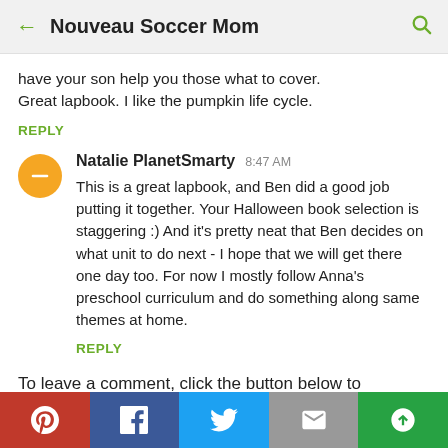Nouveau Soccer Mom
have your son help you those what to cover. Great lapbook. I like the pumpkin life cycle.
REPLY
Natalie PlanetSmarty  8:47 AM
This is a great lapbook, and Ben did a good job putting it together. Your Halloween book selection is staggering :) And it's pretty neat that Ben decides on what unit to do next - I hope that we will get there one day too. For now I mostly follow Anna's preschool curriculum and do something along same themes at home.
REPLY
To leave a comment, click the button below to